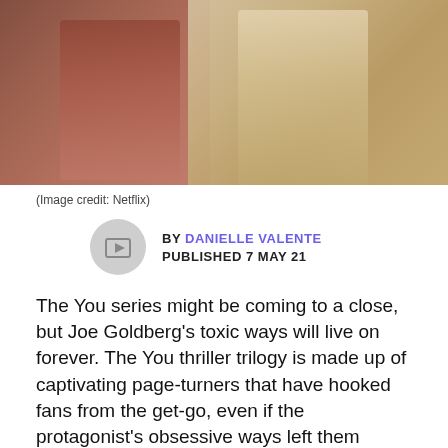[Figure (photo): Scene from the TV show You on Netflix, showing two people, a woman in a red top and a man in a light-colored shirt]
(Image credit: Netflix)
BY DANIELLE VALENTE
PUBLISHED 7 MAY 21
The You series might be coming to a close, but Joe Goldberg's toxic ways will live on forever. The You thriller trilogy is made up of captivating page-turners that have hooked fans from the get-go, even if the protagonist's obsessive ways left them slightly disturbed.
Since the psychotic bookstore manager isn't due to grace our screens on You on Netflix until the end of the year, we recommend you tide yourself over by catching up with the